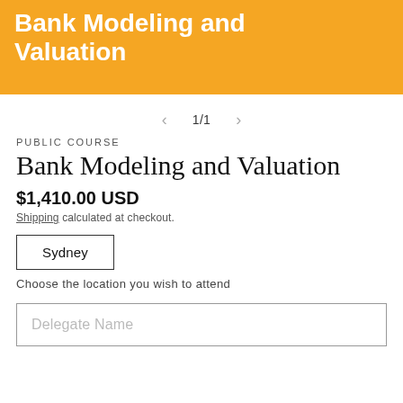Bank Modeling and Valuation
1/1
PUBLIC COURSE
Bank Modeling and Valuation
$1,410.00 USD
Shipping calculated at checkout.
Sydney
Choose the location you wish to attend
Delegate Name